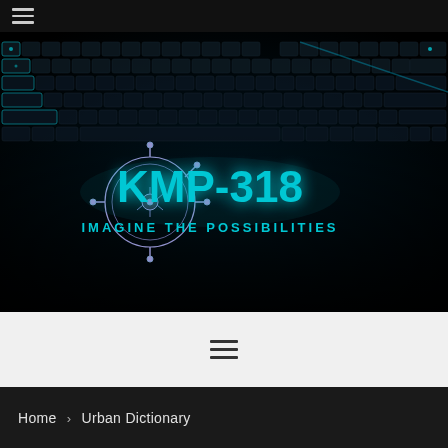[Figure (screenshot): Dark keyboard photo with cyan/teal glowing keys as background. Overlaid with KMP-318 logo text in cyan with circuit board graphic and tagline 'IMAGINE THE POSSIBILITIES'.]
☰ (hamburger menu icon)
☰ (navigation menu icon)
Home › Urban Dictionary